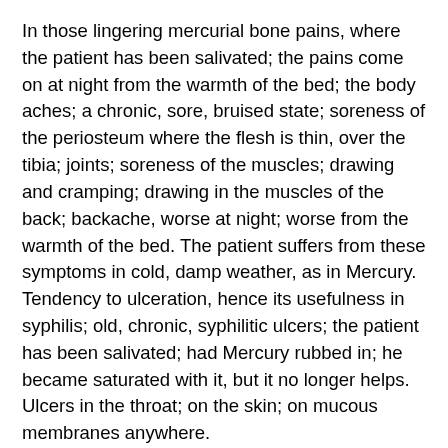In those lingering mercurial bone pains, where the patient has been salivated; the pains come on at night from the warmth of the bed; the body aches; a chronic, sore, bruised state; soreness of the periosteum where the flesh is thin, over the tibia; joints; soreness of the muscles; drawing and cramping; drawing in the muscles of the back; backache, worse at night; worse from the warmth of the bed. The patient suffers from these symptoms in cold, damp weather, as in Mercury. Tendency to ulceration, hence its usefulness in syphilis; old, chronic, syphilitic ulcers; the patient has been salivated; had Mercury rubbed in; he became saturated with it, but it no longer helps. Ulcers in the throat; on the skin; on mucous membranes anywhere.
Spasmodic conditions; drawing in the muscles; this may extend to violent spasms; opisthotonos; sometimes the cervical region is affected and the head is drawn back; jerking and twitching of the muscles.